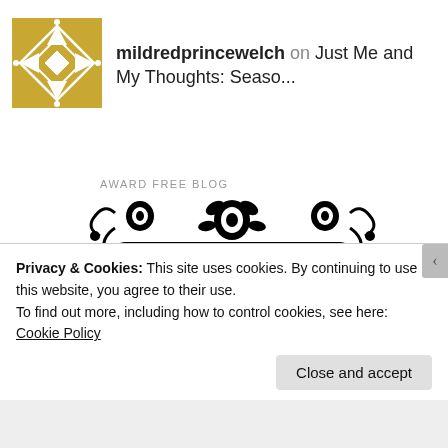[Figure (logo): Gold and white geometric/diamond pattern avatar icon for mildredprincewelch blog]
mildredprincewelch on Just Me and My Thoughts: Seaso...
AWARD FREE BLOG
[Figure (illustration): Decorative black and white illustration with floral/scroll border surrounding a sign reading 'Award Free Blog BUT I LOVE YOUR...']
Privacy & Cookies: This site uses cookies. By continuing to use this website, you agree to their use.
To find out more, including how to control cookies, see here: Cookie Policy
Close and accept